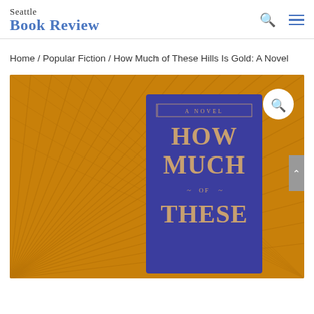Seattle Book Review
Home / Popular Fiction / How Much of These Hills Is Gold: A Novel
[Figure (photo): Book cover of 'How Much of These Hills Is Gold: A Novel' shown against an orange/gold background with radiating line patterns. The book cover itself is deep blue/navy with title text 'HOW MUCH OF THESE' visible in gold/tan lettering, and 'A Novel' subtitle on the cover. A magnifying glass icon appears in the top right corner of the image.]